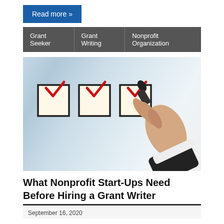Read more »
Grant Seeker | Grant Writing | Nonprofit Organization
[Figure (photo): A hand holding a black marker next to three checked checkboxes drawn on a light blue/white blurred background]
What Nonprofit Start-Ups Need Before Hiring a Grant Writer
September 16, 2020